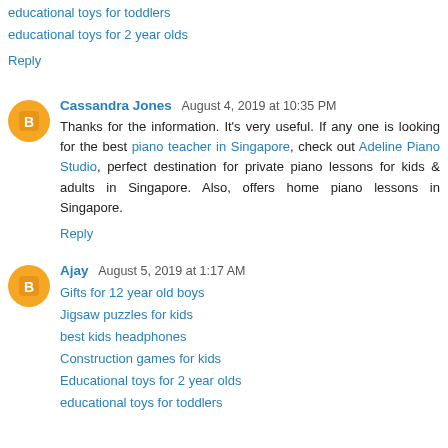educational toys for toddlers
educational toys for 2 year olds
Reply
Cassandra Jones  August 4, 2019 at 10:35 PM
Thanks for the information. It's very useful. If any one is looking for the best piano teacher in Singapore, check out Adeline Piano Studio, perfect destination for private piano lessons for kids & adults in Singapore. Also, offers home piano lessons in Singapore.
Reply
Ajay  August 5, 2019 at 1:17 AM
Gifts for 12 year old boys
Jigsaw puzzles for kids
best kids headphones
Construction games for kids
Educational toys for 2 year olds
educational toys for toddlers